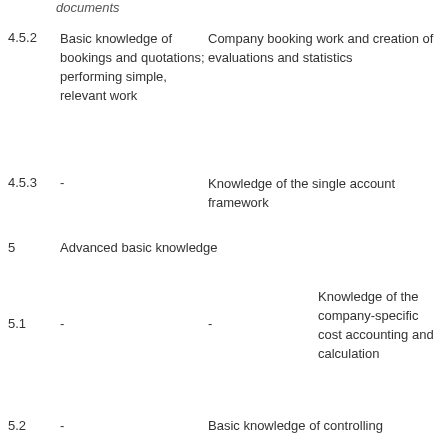documents
4.5.2 Basic knowledge of bookings and quotations; performing simple, relevant work | Company booking work and creation of evaluations and statistics
4.5.3 - | Knowledge of the single account framework
5 Advanced basic knowledge
5.1 - | - | Knowledge of the company-specific cost accounting and calculation
5.2 - | Basic knowledge of controlling